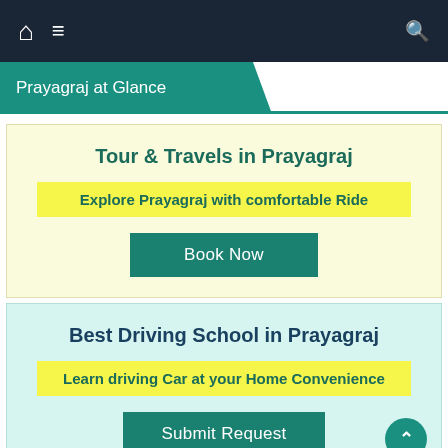Navigation bar with home, menu, and search icons
Prayagraj at Glance
Tour & Travels in Prayagraj
Explore Prayagraj with comfortable Ride
Book Now
Best Driving School in Prayagraj
Learn driving Car at your Home Convenience
Submit Request